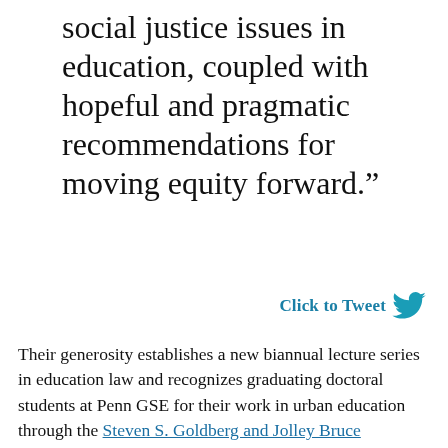social justice issues in education, coupled with hopeful and pragmatic recommendations for moving equity forward.”
Click to Tweet
Their generosity establishes a new biannual lecture series in education law and recognizes graduating doctoral students at Penn GSE for their work in urban education through the Steven S. Goldberg and Jolley Bruce Christman Lecture in Education Law Fund and the Jolley Bruce Christman and Steven S. Goldberg